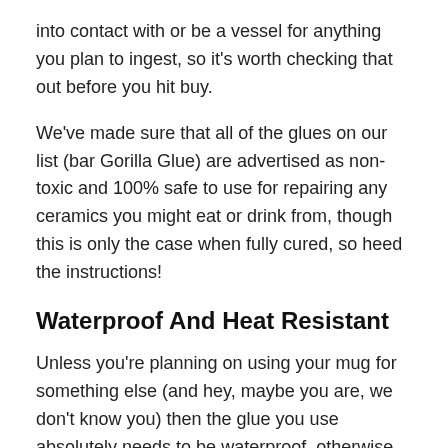into contact with or be a vessel for anything you plan to ingest, so it's worth checking that out before you hit buy.
We've made sure that all of the glues on our list (bar Gorilla Glue) are advertised as non-toxic and 100% safe to use for repairing any ceramics you might eat or drink from, though this is only the case when fully cured, so heed the instructions!
Waterproof And Heat Resistant
Unless you're planning on using your mug for something else (and hey, maybe you are, we don't know you) then the glue you use absolutely needs to be waterproof, otherwise, you're looking at a second breakage after one or two uses.
Some solvents and adhesives will dissolve after even just a few minutes of contact with any liquid, not just water, so this really is an important factor - you don't want to waste time fixing your